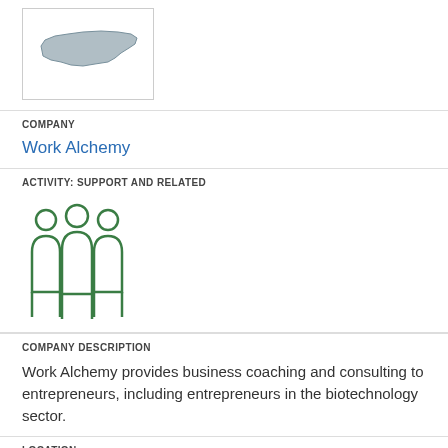[Figure (illustration): North Carolina state outline map icon inside a white bordered box]
COMPANY
Work Alchemy
ACTIVITY: SUPPORT AND RELATED
[Figure (illustration): Green icon of three people standing together (group/team icon)]
COMPANY DESCRIPTION
Work Alchemy provides business coaching and consulting to entrepreneurs, including entrepreneurs in the biotechnology sector.
LOCATION
Asheville